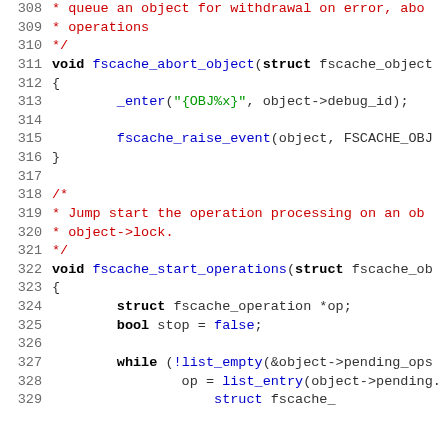[Figure (screenshot): Source code listing in C showing lines 308-329, including fscache_abort_object and fscache_start_operations function definitions with syntax highlighting. Line numbers in gray on left, keywords in bold black, comments in red, strings in green, function calls in blue.]